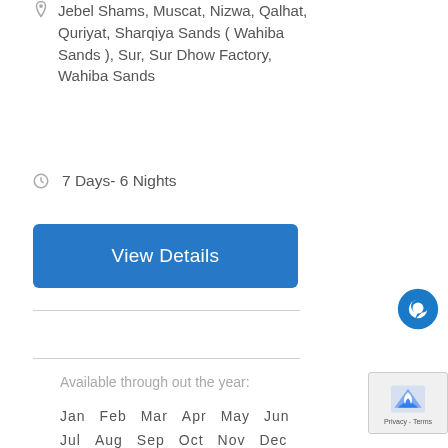Jebel Shams, Muscat, Nizwa, Qalhat, Quriyat, Sharqiya Sands ( Wahiba Sands ), Sur, Sur Dhow Factory, Wahiba Sands
7 Days- 6 Nights
View Details
Available through out the year:
Jan  Feb  Mar  Apr  May  Jun
Jul  Aug  Sep  Oct  Nov  Dec